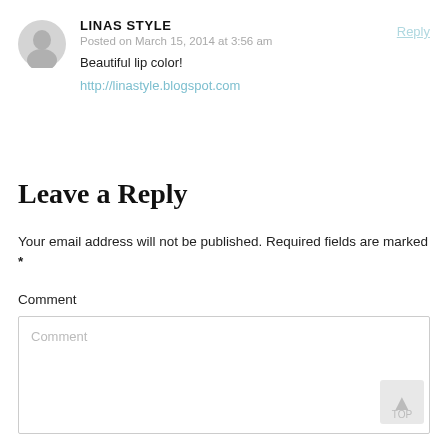LINAS STYLE
Posted on March 15, 2014 at 3:56 am
Beautiful lip color!
http://linastyle.blogspot.com
Reply
Leave a Reply
Your email address will not be published. Required fields are marked *
Comment